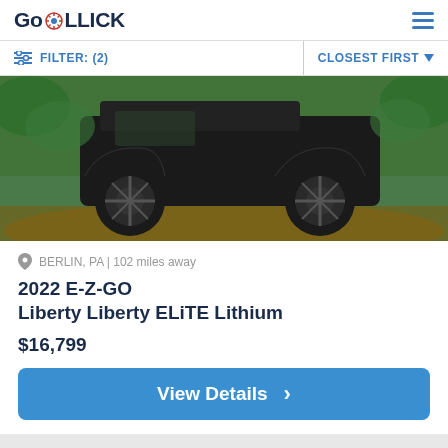GoROLLICK
FILTER: (2)    CLOSEST FIRST
[Figure (photo): A dark green/black off-road golf cart with large knobby tires on a dirt path surrounded by green trees and grass.]
BERLIN, PA | 102 miles away
2022 E-Z-GO
Liberty Liberty ELiTE Lithium
$16,799
View Details